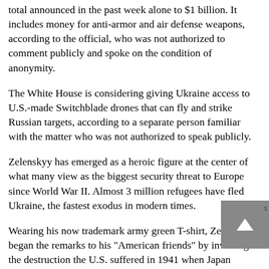total announced in the past week alone to $1 billion. It includes money for anti-armor and air defense weapons, according to the official, who was not authorized to comment publicly and spoke on the condition of anonymity.
The White House is considering giving Ukraine access to U.S.-made Switchblade drones that can fly and strike Russian targets, according to a separate person familiar with the matter who was not authorized to speak publicly.
Zelenskyy has emerged as a heroic figure at the center of what many view as the biggest security threat to Europe since World War II. Almost 3 million refugees have fled Ukraine, the fastest exodus in modern times.
Wearing his now trademark army green T-shirt, Zelinskyy began the remarks to his "American friends" by invoking the destruction the U.S. suffered in 1941 when Japan bombed the naval base at Pearl Harbor in Hawaii, and the 2001 attacks on the World Trade Center and the Pentagon by militants who commandeered passenger airplanes to crash into the symbols of Western democracy.